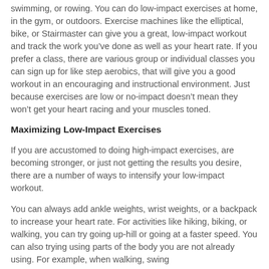swimming, or rowing. You can do low-impact exercises at home, in the gym, or outdoors. Exercise machines like the elliptical, bike, or Stairmaster can give you a great, low-impact workout and track the work you’ve done as well as your heart rate. If you prefer a class, there are various group or individual classes you can sign up for like step aerobics, that will give you a good workout in an encouraging and instructional environment. Just because exercises are low or no-impact doesn’t mean they won’t get your heart racing and your muscles toned.
Maximizing Low-Impact Exercises
If you are accustomed to doing high-impact exercises, are becoming stronger, or just not getting the results you desire, there are a number of ways to intensify your low-impact workout.
You can always add ankle weights, wrist weights, or a backpack to increase your heart rate. For activities like hiking, biking, or walking, you can try going up-hill or going at a faster speed. You can also trying using parts of the body you are not already using. For example, when walking, swing